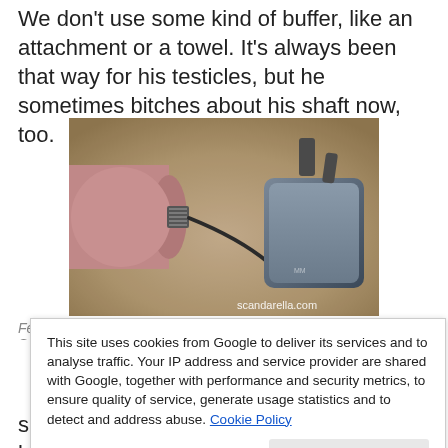We don't use some kind of buffer, like an attachment or a towel. It's always been that way for his testicles, but he sometimes bitches about his shaft now, too.
[Figure (photo): Photo of a pink/mauve elongated device next to a black UK plug charger/adapter, on a sandy/stone surface. Watermark reads scandarella.com]
This site uses cookies from Google to deliver its services and to analyse traffic. Your IP address and service provider are shared with Google, together with performance and security metrics, to ensure quality of service, generate usage statistics and to detect and address abuse. Cookie Policy
sleeve together is awesome. It sits at the bottom of